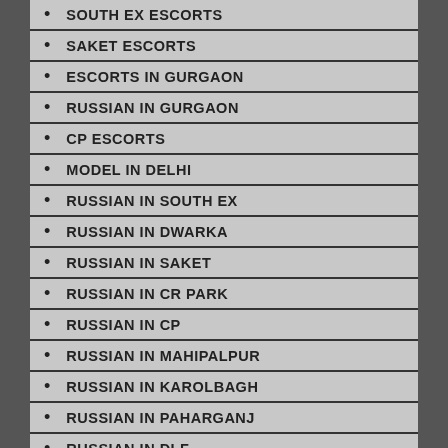SOUTH EX ESCORTS
SAKET ESCORTS
ESCORTS IN GURGAON
RUSSIAN IN GURGAON
CP ESCORTS
MODEL IN DELHI
RUSSIAN IN SOUTH EX
RUSSIAN IN DWARKA
RUSSIAN IN SAKET
RUSSIAN IN CR PARK
RUSSIAN IN CP
RUSSIAN IN MAHIPALPUR
RUSSIAN IN KAROLBAGH
RUSSIAN IN PAHARGANJ
RUSSIAN IN DLF
RUSSIAN NAHRUPLACE
VASANT VIHAR